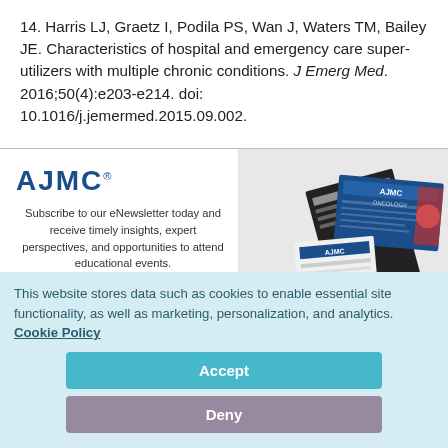14. Harris LJ, Graetz I, Podila PS, Wan J, Waters TM, Bailey JE. Characteristics of hospital and emergency care super-utilizers with multiple chronic conditions. J Emerg Med. 2016;50(4):e203-e214. doi: 10.1016/j.jemermed.2015.09.002.
[Figure (screenshot): AJMC newsletter subscription modal with logo, subscription pitch text, First Name and Last Name input fields, and a collage of AJMC publications on the right side. Includes a close (X) button in top-right corner.]
This website stores data such as cookies to enable essential site functionality, as well as marketing, personalization, and analytics. Cookie Policy
Accept
Deny